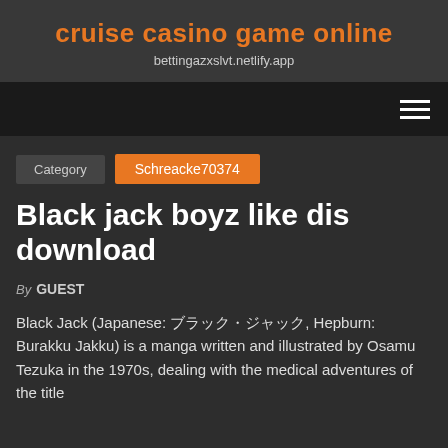cruise casino game online
bettingazxslvt.netlify.app
Category  Schreacke70374
Black jack boyz like dis download
By GUEST
Black Jack (Japanese: ブラック・ジャック, Hepburn: Burakku Jakku) is a manga written and illustrated by Osamu Tezuka in the 1970s, dealing with the medical adventures of the title